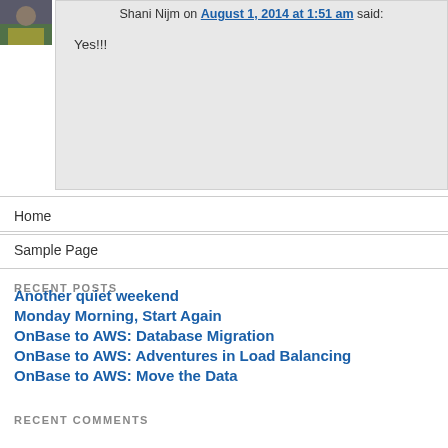Shani Nijm on August 1, 2014 at 1:51 am said: Yes!!!
Home
Sample Page
RECENT POSTS
Another quiet weekend
Monday Morning, Start Again
OnBase to AWS: Database Migration
OnBase to AWS: Adventures in Load Balancing
OnBase to AWS: Move the Data
RECENT COMMENTS